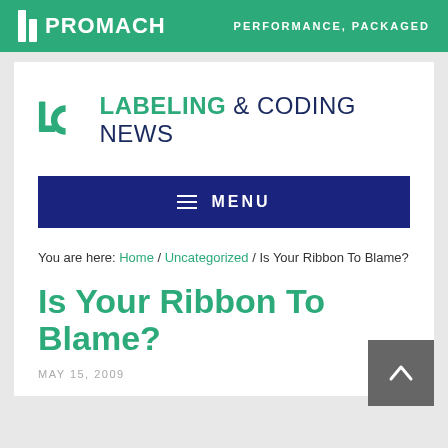PROMACH — PERFORMANCE, PACKAGED
[Figure (logo): LC Labeling & Coding News logo with stylized LC icon]
≡  MENU
You are here: Home / Uncategorized / Is Your Ribbon To Blame?
Is Your Ribbon To Blame?
MAY 15, 2009